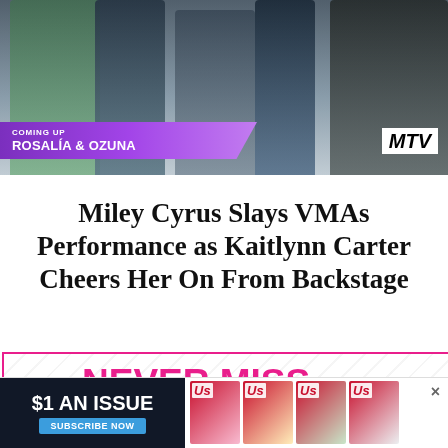[Figure (photo): Background photo showing people walking, likely at a celebrity event or venue]
COMING UP
ROSALÍA & OZUNA
Miley Cyrus Slays VMAs Performance as Kaitlynn Carter Cheers Her On From Backstage
[Figure (infographic): Advertisement: NEVER MISS A STORY - Us Weekly magazine subscription ad with multiple magazine covers shown]
[Figure (infographic): Bottom banner advertisement: $1 AN ISSUE - SUBSCRIBE NOW - Us Weekly magazine subscription ad]